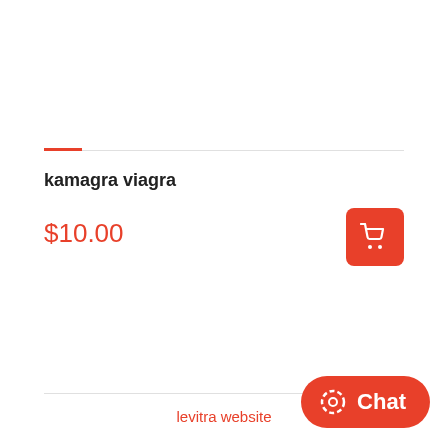kamagra viagra
$10.00
levitra website
Chat